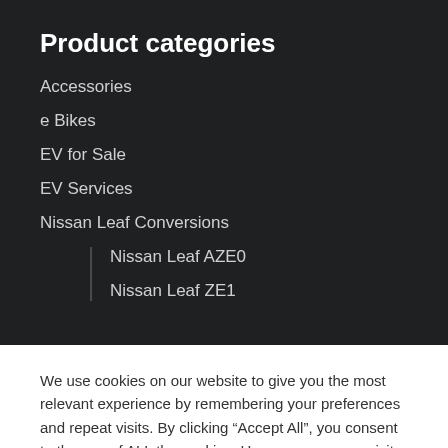Product categories
Accessories
e Bikes
EV for Sale
EV Services
Nissan Leaf Conversions
Nissan Leaf AZE0
Nissan Leaf ZE1
We use cookies on our website to give you the most relevant experience by remembering your preferences and repeat visits. By clicking “Accept All”, you consent to the use of ALL the cookies. However, you may visit “Cookie Settings” to provide a controlled consent.
Cookie Settings   Accept All